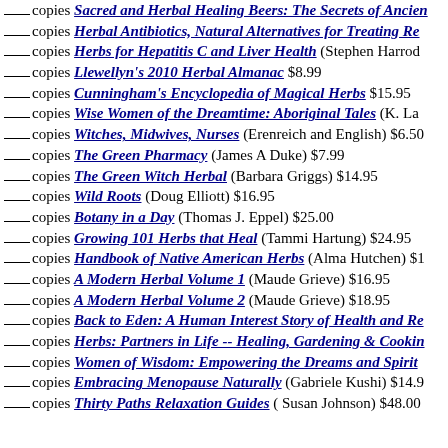___copies Sacred and Herbal Healing Beers: The Secrets of Ancien...
___copies Herbal Antibiotics, Natural Alternatives for Treating Re...
___copies Herbs for Hepatitis C and Liver Health (Stephen Harrod...
___copies Llewellyn's 2010 Herbal Almanac $8.99
___copies Cunningham's Encyclopedia of Magical Herbs $15.95
___copies Wise Women of the Dreamtime: Aboriginal Tales (K. La...
___copies Witches, Midwives, Nurses (Erenreich and English) $6.50
___copies The Green Pharmacy (James A Duke) $7.99
___copies The Green Witch Herbal (Barbara Griggs) $14.95
___copies Wild Roots (Doug Elliott) $16.95
___copies Botany in a Day (Thomas J. Eppel) $25.00
___copies Growing 101 Herbs that Heal (Tammi Hartung) $24.95
___copies Handbook of Native American Herbs (Alma Hutchen) $1...
___copies A Modern Herbal Volume 1 (Maude Grieve) $16.95
___copies A Modern Herbal Volume 2 (Maude Grieve) $18.95
___copies Back to Eden: A Human Interest Story of Health and Re...
___copies Herbs: Partners in Life -- Healing, Gardening & Cookin...
___copies Women of Wisdom: Empowering the Dreams and Spirit ...
___copies Embracing Menopause Naturally (Gabriele Kushi) $14.9...
___copies Thirty Paths Relaxation Guides ( Susan Johnson) $48.00
(Peterson Field Guides)
___copies A Field Guide to Edible Wild Plants: Eastern and Central N...